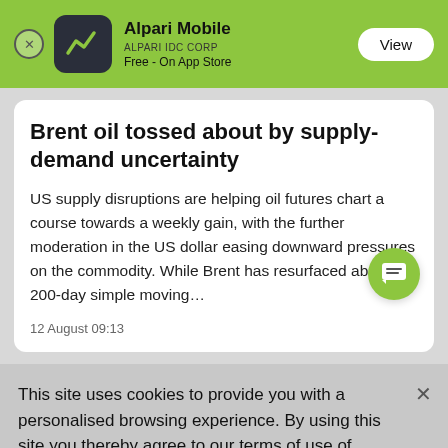[Figure (screenshot): Alpari Mobile app banner with green background, app icon showing a line chart on dark background, app name 'Alpari Mobile', publisher 'ALPARI IDC CORP', 'Free - On App Store', and a 'View' button]
Brent oil tossed about by supply-demand uncertainty
US supply disruptions are helping oil futures chart a course towards a weekly gain, with the further moderation in the US dollar easing downward pressures on the commodity. While Brent has resurfaced above its 200-day simple moving...
12 August 09:13
This site uses cookies to provide you with a personalised browsing experience. By using this site you thereby agree to our terms of use of cookies as set out in our Cookie Policy.